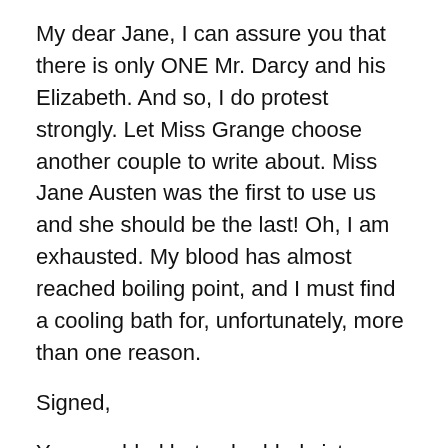My dear Jane, I can assure you that there is only ONE Mr. Darcy and his Elizabeth. And so, I do protest strongly. Let Miss Grange choose another couple to write about. Miss Jane Austen was the first to use us and she should be the last! Oh, I am exhausted. My blood has almost reached boiling point, and I must find a cooling bath for, unfortunately, more than one reason.
Signed,
Your wedded but unbedded sister, Lizzie.
P.S. Are you experiencing a rabid bat infestation? One almost flew through my window, but I slammed it shut before it could enter. I shudder to think what might have happened had it landed on my neck. (Now why on earth did I think that?) I shall write more about this situation tomorrow, for there is so much I must share with you about